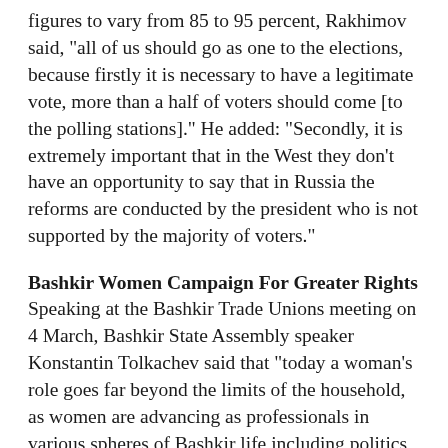figures to vary from 85 to 95 percent, Rakhimov said, "all of us should go as one to the elections, because firstly it is necessary to have a legitimate vote, more than a half of voters should come [to the polling stations]." He added: "Secondly, it is extremely important that in the West they don't have an opportunity to say that in Russia the reforms are conducted by the president who is not supported by the majority of voters."
Bashkir Women Campaign For Greater Rights
Speaking at the Bashkir Trade Unions meeting on 4 March, Bashkir State Assembly speaker Konstantin Tolkachev said that "today a woman's role goes far beyond the limits of the household, as women are advancing as professionals in various spheres of Bashkir life including politics and government," an RFE/RL/Ufa correspondent reported on March...